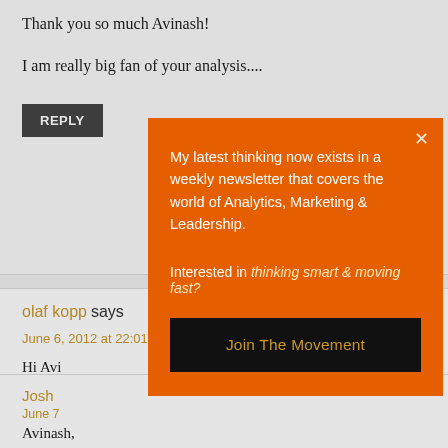Thank you so much Avinash!
I am really big fan of your analysis....
REPLY
olaf kopp says
15
June 6, 2012 at 22:01
Hi Avi
We wi
Best f
REPL
[Figure (other): Orange popup/modal overlay with text: 'My latest thinking now exists in a weekly newsletter that covers the world of Analytics, Marketing & Leadership.' and 'Interested in thinking smart & moving fast?' with a black 'Join The Movement' button. Has an X close button in top right.]
Josh
June 7
Avinash,